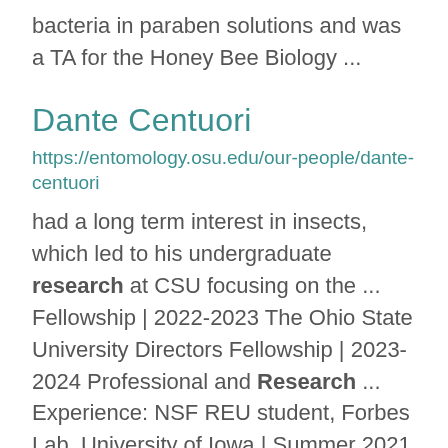bacteria in paraben solutions and was a TA for the Honey Bee Biology ...
Dante Centuori
https://entomology.osu.edu/our-people/dante-centuori
had a long term interest in insects, which led to his undergraduate research at CSU focusing on the ... Fellowship | 2022-2023 The Ohio State University Directors Fellowship | 2023-2024 Professional and Research ... Experience: NSF REU student, Forbes Lab, University of Iowa | Summer 2021 Honors Thesis/Research, Krebs Lab,
...